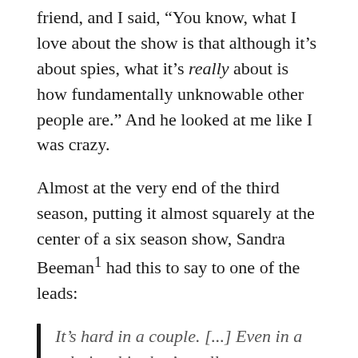friend, and I said, “You know, what I love about the show is that although it’s about spies, what it’s really about is how fundamentally unknowable other people are.” And he looked at me like I was crazy.
Almost at the very end of the third season, putting it almost squarely at the center of a six season show, Sandra Beeman¹ had this to say to one of the leads:
It’s hard in a couple. [...] Even in a relationship that’s really new, you run into things, you have to work through it. [...] It’s about everything. Learning how to be open. Really knowing